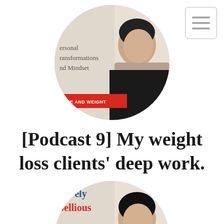[Figure (photo): Circular podcast cover image with a woman smiling, text reading 'Personal Transformations and Mindset' and a red banner at bottom]
[Podcast 9] My weight loss clients’ deep work.
[Figure (photo): Circular podcast cover image partially visible, with text 'atively bellious' in blue/red and 'Personal Transformations' below]